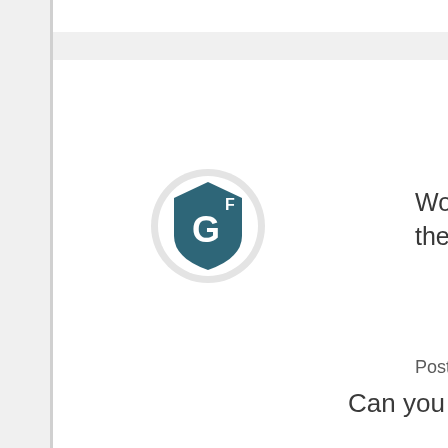[Figure (logo): User avatar icon — teal/dark blue hexagonal shield shape with stylized 'G' letter and 'F' superscript, inside a light gray circle]
Would I have the same-- o the post?
Posted 9 years ago on Wedne
MarciaH
Member
Can you contact them and a